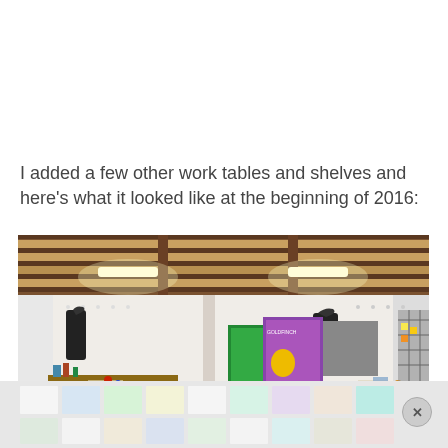I added a few other work tables and shelves and here's what it looked like at the beginning of 2016:
[Figure (photo): Wide-angle interior photo of an artist's studio with wooden beam ceiling, fluorescent lights, white brick walls, multiple work tables covered with art supplies, canvases and paintings leaning against walls including bird paintings, an easel with artwork, a dark coat hanging on the wall, and various art materials and storage on the right side.]
[Figure (photo): Partial view of colorful tiles or panels laid out on a light floor, visible at the bottom of the page with a close/dismiss button (X) in the bottom right corner.]